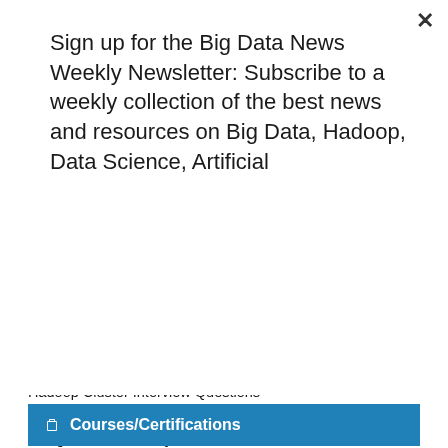Sign up for the Big Data News Weekly Newsletter: Subscribe to a weekly collection of the best news and resources on Big Data, Hadoop, Data Science, Artificial
Subscribe
Interview Questions
Hadoop-HDFS Interview Questions
Hadoop Cluster Interview Questions
Hadoop Admin Interview Questions
MongoDB Interview Questions
MongoDB-NoSQI Interview Questions
Splunk Interview Questions
Apache Pig Interview Questions
Hive Interview Questions
MapReduce Interview Questions
Courses/Certifications
Deep learning courses
Machine learning courses